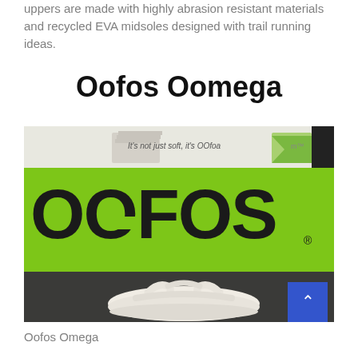uppers are made with highly abrasion resistant materials and recycled EVA midsoles designed with trail running ideas.
Oofos Oomega
[Figure (photo): Photo of an OOFOS branded display box with bright green panel showing the OOFOS logo in large black letters. A white/cream flip-flop sandal (Oofos Oomega) is displayed in front on a dark surface. A blue scroll-to-top button is visible in the bottom right corner.]
Oofos Omega